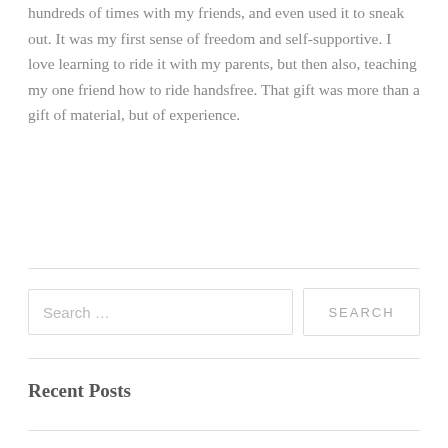hundreds of times with my friends, and even used it to sneak out. It was my first sense of freedom and self-supportive. I love learning to ride it with my parents, but then also, teaching my one friend how to ride handsfree. That gift was more than a gift of material, but of experience.
Recent Posts